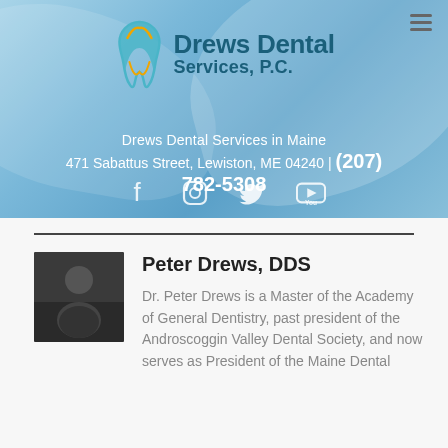[Figure (logo): Drews Dental Services P.C. logo with tooth icon in teal and gold colors]
Drews Dental Services in Maine
471 Sabattus Street, Lewiston, ME 04240 | (207) 782-5308
[Figure (infographic): Social media icons: Facebook, Instagram, Twitter, YouTube]
[Figure (photo): Photo of Dr. Peter Drews seated in dental office]
Peter Drews, DDS
Dr. Peter Drews is a Master of the Academy of General Dentistry, past president of the Androscoggin Valley Dental Society, and now serves as President of the Maine Dental